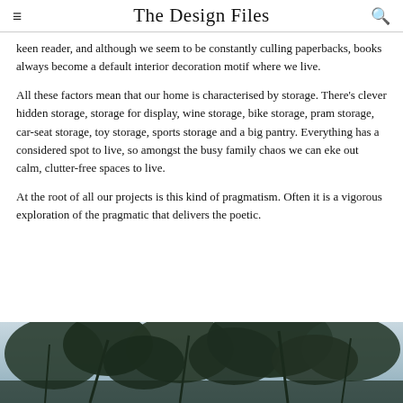The Design Files
keen reader, and although we seem to be constantly culling paperbacks, books always become a default interior decoration motif where we live.
All these factors mean that our home is characterised by storage. There's clever hidden storage, storage for display, wine storage, bike storage, pram storage, car-seat storage, toy storage, sports storage and a big pantry. Everything has a considered spot to live, so amongst the busy family chaos we can eke out calm, clutter-free spaces to live.
At the root of all our projects is this kind of pragmatism. Often it is a vigorous exploration of the pragmatic that delivers the poetic.
[Figure (photo): Outdoor photo showing trees with dark foliage against a light sky, taken from below looking up.]